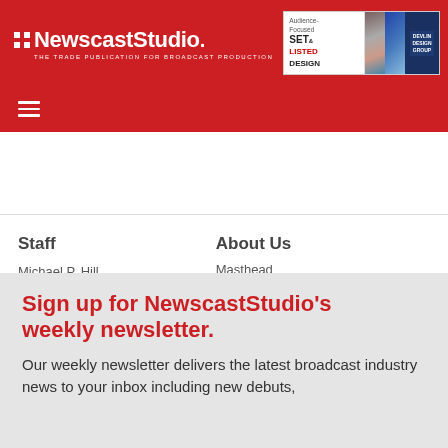NewscastStudio — THE TRADE PUBLICATION FOR BROADCAST PRODUCTION
[Figure (screenshot): Advertisement banner: Audience-Focused SET & LISTED DESIGN with broadcast news studio imagery and Devlin Design Group branding]
[Figure (other): Hamburger menu icon (three horizontal white lines on red background)]
Staff
Michael P. Hill
Publisher
Dak Dillon
About Us
Masthead
Site Updates
Advertising & Media Kit
Partnerships
Sign up for NewscastStudio's weekly newsletter.
Our weekly newsletter delivers the latest broadcast industry news to your inbox including new debuts,